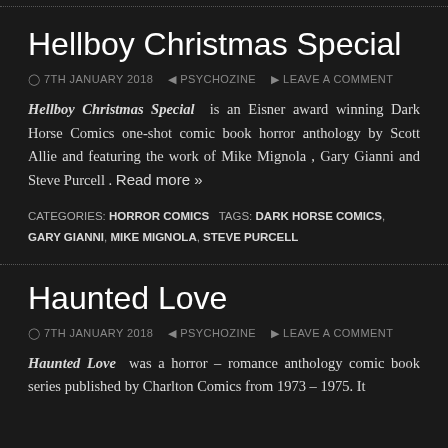Hellboy Christmas Special
7TH JANUARY 2018  PSYCHOZINE  LEAVE A COMMENT
Hellboy Christmas Special is an Eisner award winning Dark Horse Comics one-shot comic book horror anthology by Scott Allie and featuring the work of Mike Mignola , Gary Gianni and Steve Purcell . Read more »
CATEGORIES: HORROR COMICS  TAGS: DARK HORSE COMICS, GARY GIANNI, MIKE MIGNOLA, STEVE PURCELL
Haunted Love
7TH JANUARY 2018  PSYCHOZINE  LEAVE A COMMENT
Haunted Love was a horror – romance anthology comic book series published by Charlton Comics from 1973 – 1975. It